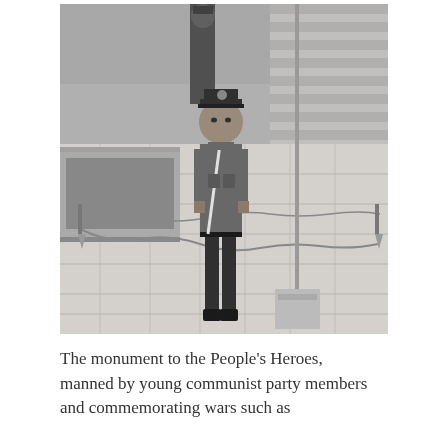[Figure (photo): Black and white photograph of a young uniformed guard (communist party member) standing at attention at the Monument to the People's Heroes. A flagpole is visible to the right, stone steps and a grass area are in the background, with chain barriers around the monument area.]
The monument to the People's Heroes, manned by young communist party members and commemorating wars such as